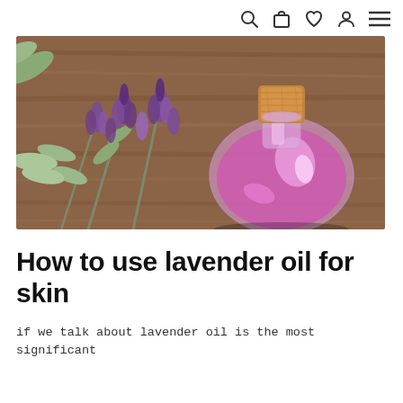search cart wishlist account menu
[Figure (photo): A round glass bottle with a cork stopper filled with pink/purple lavender essential oil, placed on a wooden surface alongside sprigs of lavender flowers with purple blooms and grey-green leaves.]
How to use lavender oil for skin
if we talk about lavender oil is the most significant